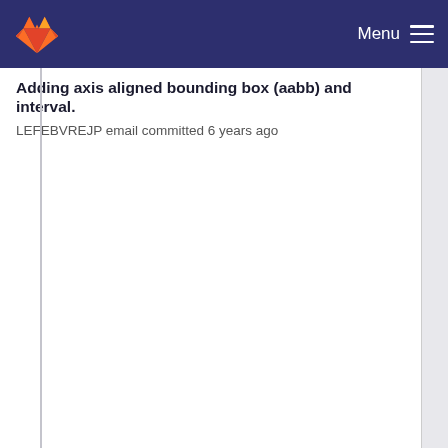Menu
Adding axis aligned bounding box (aabb) and interval.
LEFEBVREJP email committed 6 years ago
Applying formatting options.
LEFEBVREJP email committed 5 years ago
Adding axis aligned bounding box (aabb) and interval.
LEFEBVREJP email committed 6 years ago
Applying clang-format to all packages.
LEFEBVREJP email committed 4 years ago
Adding axis aligned bounding box (aabb) and interval.
LEFEBVREJP email committed 6 years ago
Applying clang-format to all packages.
LEFEBVREJP email committed